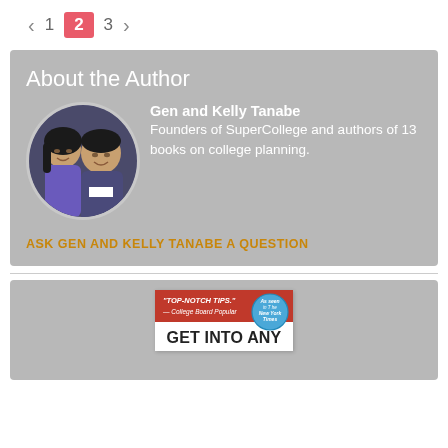< 1 2 3 >
About the Author
Gen and Kelly Tanabe
Founders of SuperCollege and authors of 13 books on college planning.
ASK GEN AND KELLY TANABE A QUESTION
[Figure (photo): Circular photo of Gen and Kelly Tanabe, a man and woman smiling]
[Figure (photo): Book cover: GET INTO ANY — top red section with quote 'TOP-NOTCH TIPS.' — College Board Popular, with New York Times badge]